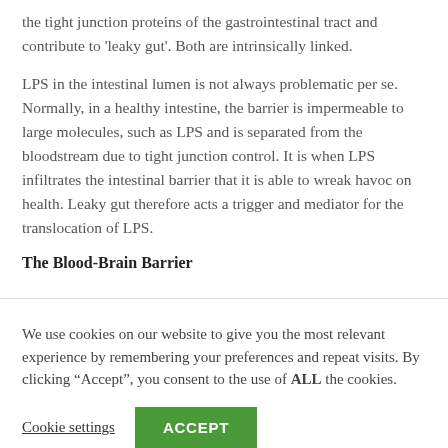the tight junction proteins of the gastrointestinal tract and contribute to 'leaky gut'. Both are intrinsically linked.
LPS in the intestinal lumen is not always problematic per se. Normally, in a healthy intestine, the barrier is impermeable to large molecules, such as LPS and is separated from the bloodstream due to tight junction control. It is when LPS infiltrates the intestinal barrier that it is able to wreak havoc on health. Leaky gut therefore acts a trigger and mediator for the translocation of LPS.
The Blood-Brain Barrier
We use cookies on our website to give you the most relevant experience by remembering your preferences and repeat visits. By clicking “Accept”, you consent to the use of ALL the cookies.
Cookie settings | ACCEPT